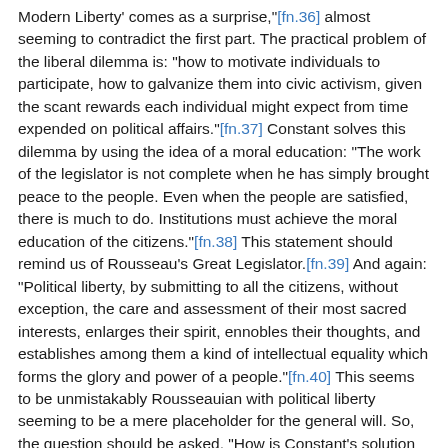Modern Liberty' comes as a surprise,"[fn.36] almost seeming to contradict the first part. The practical problem of the liberal dilemma is: "how to motivate individuals to participate, how to galvanize them into civic activism, given the scant rewards each individual might expect from time expended on political affairs."[fn.37] Constant solves this dilemma by using the idea of a moral education: "The work of the legislator is not complete when he has simply brought peace to the people. Even when the people are satisfied, there is much to do. Institutions must achieve the moral education of the citizens."[fn.38] This statement should remind us of Rousseau's Great Legislator.[fn.39] And again: "Political liberty, by submitting to all the citizens, without exception, the care and assessment of their most sacred interests, enlarges their spirit, ennobles their thoughts, and establishes among them a kind of intellectual equality which forms the glory and power of a people."[fn.40] This seems to be unmistakably Rousseauian with political liberty seeming to be a mere placeholder for the general will. So, the question should be asked, "How is Constant's solution different from Rousseau's?"